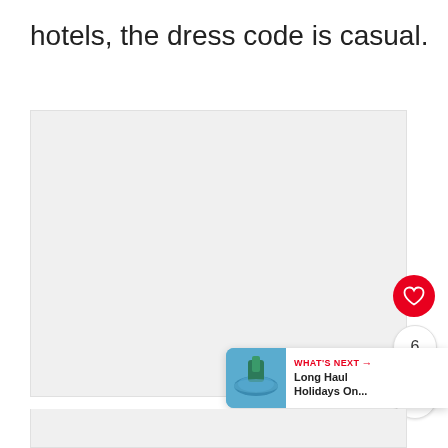hotels, the dress code is casual.
[Figure (photo): Large light gray image placeholder area, likely a hotel or travel photo that has not loaded]
[Figure (infographic): UI overlay elements: red heart/like button, count badge showing 6, share button with network icon]
[Figure (infographic): What's Next card with thumbnail image, label 'WHAT'S NEXT ->' and title 'Long Haul Holidays On...']
[Figure (photo): Bottom partial image strip, light gray placeholder]